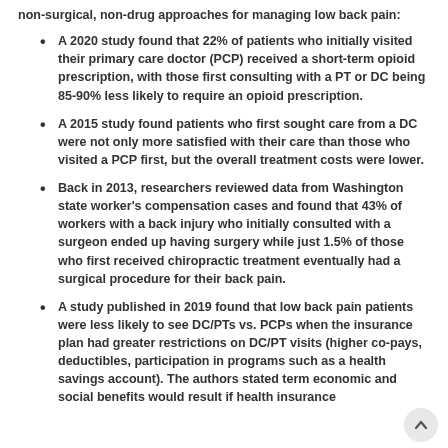non-surgical, non-drug approaches for managing low back pain:
A 2020 study found that 22% of patients who initially visited their primary care doctor (PCP) received a short-term opioid prescription, with those first consulting with a PT or DC being 85-90% less likely to require an opioid prescription.
A 2015 study found patients who first sought care from a DC were not only more satisfied with their care than those who visited a PCP first, but the overall treatment costs were lower.
Back in 2013, researchers reviewed data from Washington state worker’s compensation cases and found that 43% of workers with a back injury who initially consulted with a surgeon ended up having surgery while just 1.5% of those who first received chiropractic treatment eventually had a surgical procedure for their back pain.
A study published in 2019 found that low back pain patients were less likely to see DC/PTs vs. PCPs when the insurance plan had greater restrictions on DC/PT visits (higher co-pays, deductibles, participation in programs such as a health savings account). The authors stated term economic and social benefits would result if health insurance